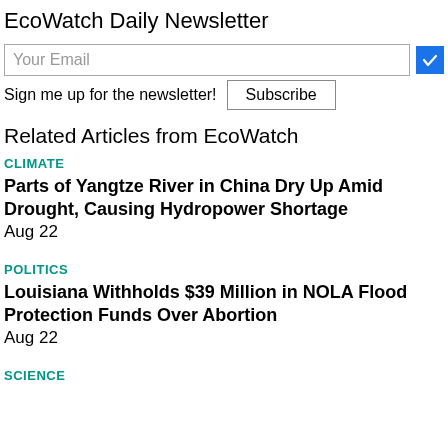EcoWatch Daily Newsletter
Your Email | Subscribe | Sign me up for the newsletter!
Related Articles from EcoWatch
CLIMATE
Parts of Yangtze River in China Dry Up Amid Drought, Causing Hydropower Shortage
Aug 22
POLITICS
Louisiana Withholds $39 Million in NOLA Flood Protection Funds Over Abortion
Aug 22
SCIENCE